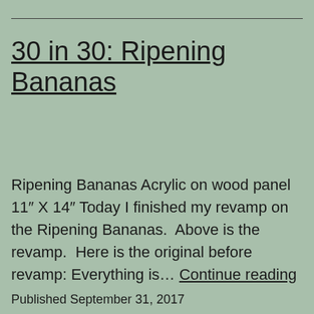30 in 30: Ripening Bananas
Ripening Bananas Acrylic on wood panel 11″ X 14″ Today I finished my revamp on the Ripening Bananas.  Above is the revamp.  Here is the original before revamp: Everything is… Continue reading
Published September 31, 2017